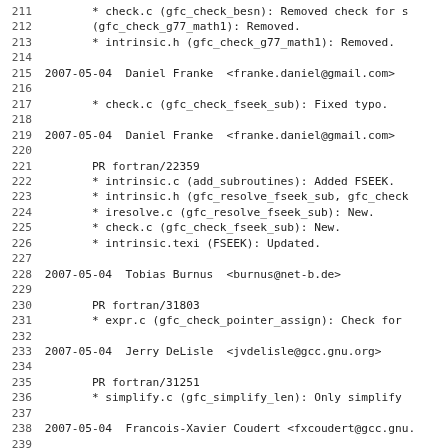211         * check.c (gfc_check_besn): Removed check for s
212         (gfc_check_g77_math1): Removed.
213         * intrinsic.h (gfc_check_g77_math1): Removed.
214
215 2007-05-04  Daniel Franke  <franke.daniel@gmail.com>
216
217         * check.c (gfc_check_fseek_sub): Fixed typo.
218
219 2007-05-04  Daniel Franke  <franke.daniel@gmail.com>
220
221         PR fortran/22359
222         * intrinsic.c (add_subroutines): Added FSEEK.
223         * intrinsic.h (gfc_resolve_fseek_sub, gfc_check
224         * iresolve.c (gfc_resolve_fseek_sub): New.
225         * check.c (gfc_check_fseek_sub): New.
226         * intrinsic.texi (FSEEK): Updated.
227
228 2007-05-04  Tobias Burnus  <burnus@net-b.de>
229
230         PR fortran/31803
231         * expr.c (gfc_check_pointer_assign): Check for
232
233 2007-05-04  Jerry DeLisle  <jvdelisle@gcc.gnu.org>
234
235         PR fortran/31251
236         * simplify.c (gfc_simplify_len): Only simplify
237
238 2007-05-04  Francois-Xavier Coudert <fxcoudert@gcc.gnu.
239
240         PR fortran/31781
241         * simplify.c (gfc_simplify_repeat): Don't put f
242         side effect in a gcc_assert().